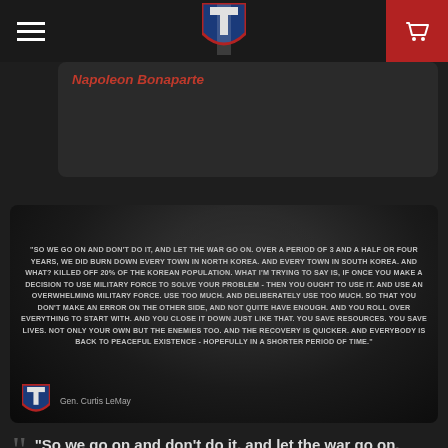Navigation bar with hamburger menu, shield logo, and cart icon
Napoleon Bonaparte
[Figure (photo): Dark image of a figure (silhouette) overlaid with a quote from Gen. Curtis LeMay about using overwhelming military force in Korea, with a shield logo in the bottom-left and attribution 'Gen. Curtis LeMay']
“So we go on and don’t do it, and let the war go on. Over a period of 3 and a half or four years, we did burn down every town in North Korea. And every town in South Korea. And what? Killed off 20% of